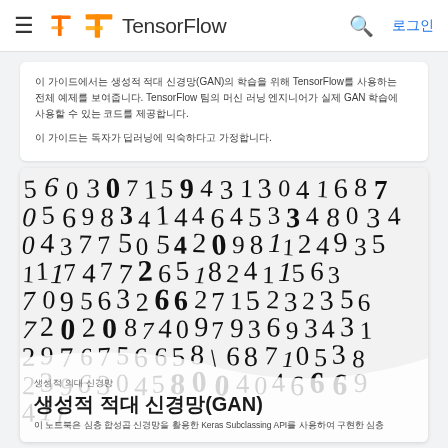≡  TensorFlow  🔍  로그인
이 가이드에서는 생성적 적대 신경망(GAN)의 학습을 위해 TensorFlow를 사용하는 전체 예제를 보여줍니다. TensorFlow 팀의 머신 러닝 엔지니어가 실제 GAN 학습에 사용할 수 있는 코드를 제공합니다. 이 가이드는 독자가 딥러닝에 익숙하다고 가정합니다.
[Figure (photo): MNIST handwritten digit samples displayed as a grid of handwritten numbers in black ink on white background, appearing slightly curved/warped]
생성적 적대 신경망(GAN)
이 노트북은 심층 합성곱 신경망을 활용한 Keras Subclassing API를 사용하여 구현한 심층